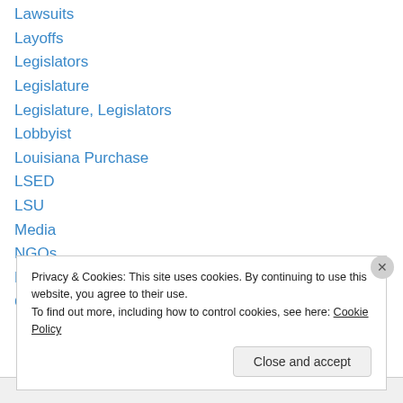Lawsuits
Layoffs
Legislators
Legislature
Legislature, Legislators
Lobbyist
Louisiana Purchase
LSED
LSU
Media
NGOs
Notable Quotables
Office of Group Benefits
Privacy & Cookies: This site uses cookies. By continuing to use this website, you agree to their use.
To find out more, including how to control cookies, see here: Cookie Policy
Close and accept